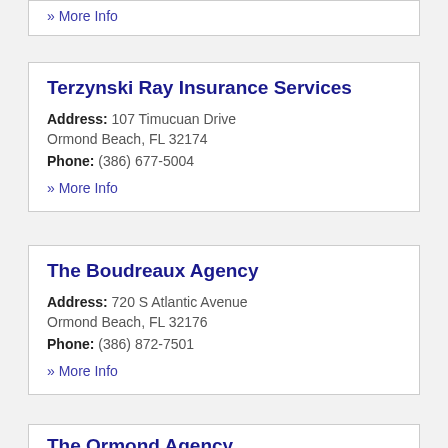» More Info
Terzynski Ray Insurance Services
Address: 107 Timucuan Drive
Ormond Beach, FL 32174
Phone: (386) 677-5004
» More Info
The Boudreaux Agency
Address: 720 S Atlantic Avenue
Ormond Beach, FL 32176
Phone: (386) 872-7501
» More Info
The Ormond Agency